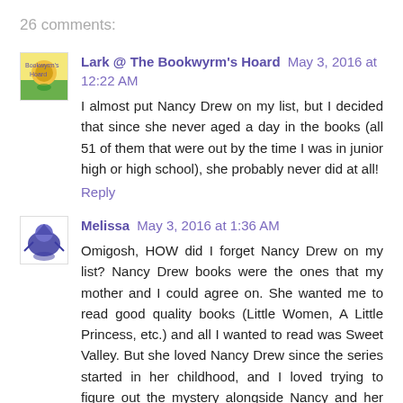26 comments:
Lark @ The Bookwyrm's Hoard May 3, 2016 at 12:22 AM
I almost put Nancy Drew on my list, but I decided that since she never aged a day in the books (all 51 of them that were out by the time I was in junior high or high school), she probably never did at all!
Reply
Melissa May 3, 2016 at 1:36 AM
Omigosh, HOW did I forget Nancy Drew on my list? Nancy Drew books were the ones that my mother and I could agree on. She wanted me to read good quality books (Little Women, A Little Princess, etc.) and all I wanted to read was Sweet Valley. But she loved Nancy Drew since the series started in her childhood, and I loved trying to figure out the mystery alongside Nancy and her chums =)